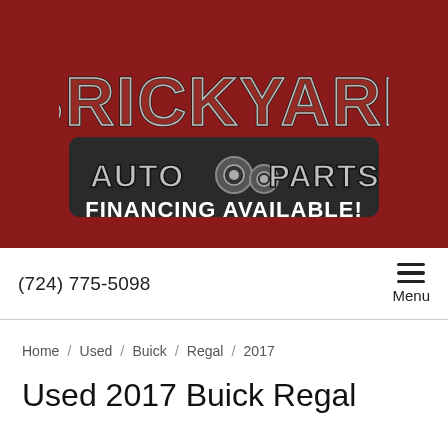[Figure (logo): Brickyard Auto Parts logo with brick-textured lettering, auto parts imagery, and 'FINANCING AVAILABLE!' text on dark background, set against a dark red banner background.]
(724) 775-5098
Menu
Home / Used / Buick / Regal / 2017
Used 2017 Buick Regal